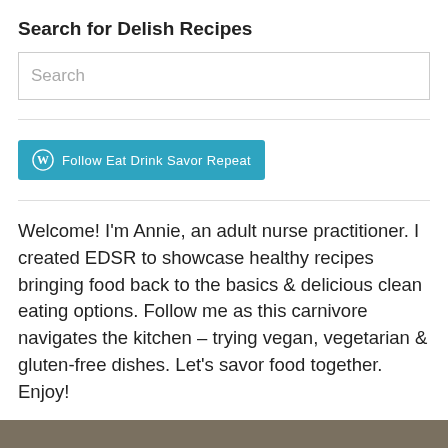Search for Delish Recipes
Search
[Figure (other): Follow button for WordPress blog 'Eat Drink Savor Repeat' in teal/blue color with WordPress logo icon]
Welcome! I'm Annie, an adult nurse practitioner. I created EDSR to showcase healthy recipes bringing food back to the basics & delicious clean eating options. Follow me as this carnivore navigates the kitchen – trying vegan, vegetarian & gluten-free dishes. Let's savor food together. Enjoy!
[Figure (photo): Bottom portion of a food photograph, olive/brown tones]